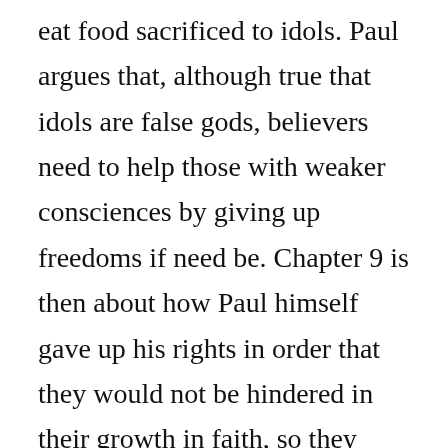eat food sacrificed to idols. Paul argues that, although true that idols are false gods, believers need to help those with weaker consciences by giving up freedoms if need be. Chapter 9 is then about how Paul himself gave up his rights in order that they would not be hindered in their growth in faith, so they should follow his example. The question of running the race for the prize is then about valuable ministry, not about a questionable salvation. The motivating point going into chapter 10, the illustrated by Israel's congregations